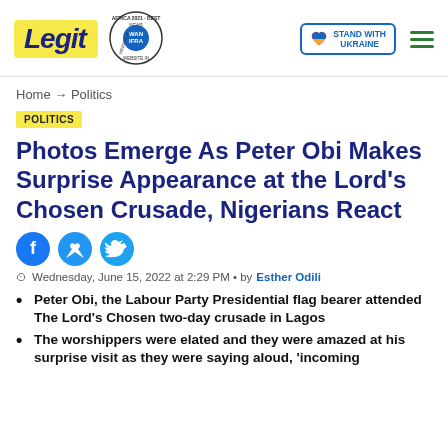Legit | WAN IFRA 2021 Best News Website in Africa | Stand With Ukraine
Home → Politics
POLITICS
Photos Emerge As Peter Obi Makes Surprise Appearance at the Lord's Chosen Crusade, Nigerians React
Wednesday, June 15, 2022 at 2:29 PM • by Esther Odili
Peter Obi, the Labour Party Presidential flag bearer attended The Lord's Chosen two-day crusade in Lagos
The worshippers were elated and they were amazed at his surprise visit as they were saying aloud, 'incoming